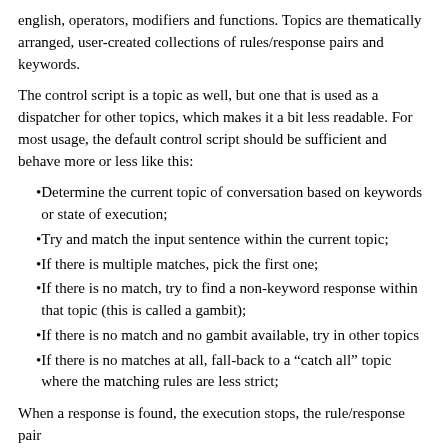english, operators, modifiers and functions. Topics are thematically arranged, user-created collections of rules/response pairs and keywords.
The control script is a topic as well, but one that is used as a dispatcher for other topics, which makes it a bit less readable. For most usage, the default control script should be sufficient and behave more or less like this:
Determine the current topic of conversation based on keywords or state of execution;
Try and match the input sentence within the current topic;
If there is multiple matches, pick the first one;
If there is no match, try to find a non-keyword response within that topic (this is called a gambit);
If there is no match and no gambit available, try in other topics
If there is no matches at all, fall-back to a "catch all" topic where the matching rules are less strict;
When a response is found, the execution stops, the rule/response pair